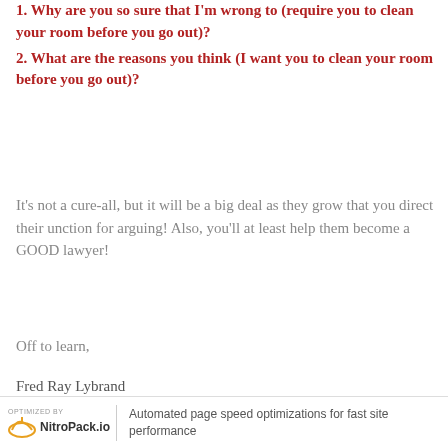1. Why are you so sure that I'm wrong to (require you to clean your room before you go out)?
2. What are the reasons you think (I want you to clean your room before you go out)?
It's not a cure-all, but it will be a big deal as they grow that you direct their unction for arguing! Also, you'll at least help them become a GOOD lawyer!
Off to learn,
Fred Ray Lybrand
The Writing Course Works
OPTIMIZED BY NitroPack.io | Automated page speed optimizations for fast site performance